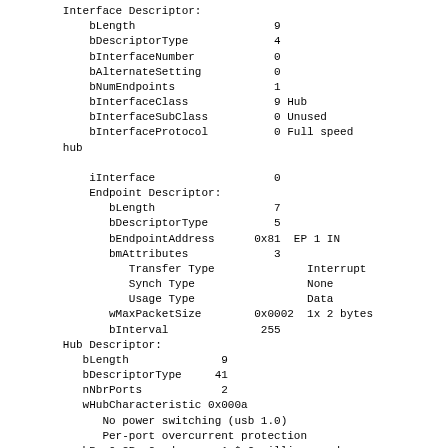Interface Descriptor:
    bLength                     9
    bDescriptorType             4
    bInterfaceNumber            0
    bAlternateSetting           0
    bNumEndpoints               1
    bInterfaceClass             9 Hub
    bInterfaceSubClass          0 Unused
    bInterfaceProtocol          0 Full speed hub
    iInterface                  0
    Endpoint Descriptor:
      bLength                   7
      bDescriptorType           5
      bEndpointAddress       0x81  EP 1 IN
      bmAttributes              3
        Transfer Type            Interrupt
        Synch Type               None
        Usage Type               Data
      wMaxPacketSize         0x0002  1x 2 bytes
      bInterval               255
Hub Descriptor:
  bLength                9
  bDescriptorType       41
  nNbrPorts              2
  wHubCharacteristic 0x000a
    No power switching (usb 1.0)
    Per-port overcurrent protection
  bPwrOn2PwrGood         1 * 2 milli seconds
  bHubContrCurrent       0 milli Ampere